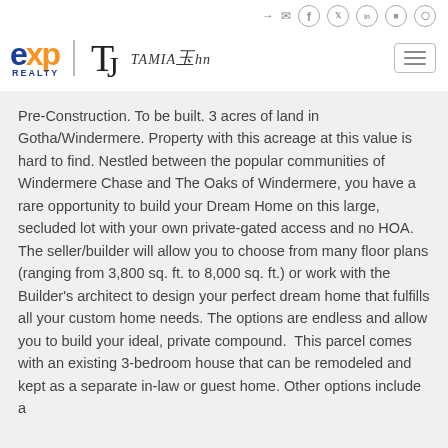[Figure (logo): eXp Realty logo with orange X and blue text, alongside Tamia Johnson signature logo]
Pre-Construction. To be built. 3 acres of land in Gotha/Windermere. Property with this acreage at this value is hard to find. Nestled between the popular communities of Windermere Chase and The Oaks of Windermere, you have a rare opportunity to build your Dream Home on this large, secluded lot with your own private-gated access and no HOA. The seller/builder will allow you to choose from many floor plans (ranging from 3,800 sq. ft. to 8,000 sq. ft.) or work with the Builder's architect to design your perfect dream home that fulfills all your custom home needs. The options are endless and allow you to build your ideal, private compound.  This parcel comes with an existing 3-bedroom house that can be remodeled and kept as a separate in-law or guest home. Other options include a